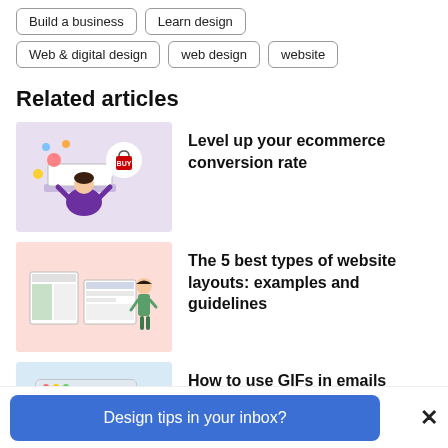Build a business
Learn design
Web & digital design
web design
website
Related articles
[Figure (illustration): Illustration of a person at a laptop with floating shopping icons and a thought bubble with a shopping bag]
Level up your ecommerce conversion rate
[Figure (illustration): Illustration of website layout mockups with a person standing next to them on a pink background]
The 5 best types of website layouts: examples and guidelines
[Figure (illustration): Illustration of a person working on a computer with a GIF on screen, light blue background]
How to use GIFs in emails
Design tips in your inbox?